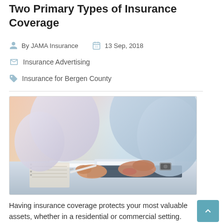Two Primary Types of Insurance Coverage
By JAMA Insurance   13 Sep, 2018
Insurance Advertising
Insurance for Bergen County
[Figure (photo): Two people sitting at a desk reviewing documents; one person pointing at paper with a pen, the other with hand resting on papers; warm backlit office setting.]
Having insurance coverage protects your most valuable assets, whether in a residential or commercial setting. When you are looking for competitive rates and superior services, ask